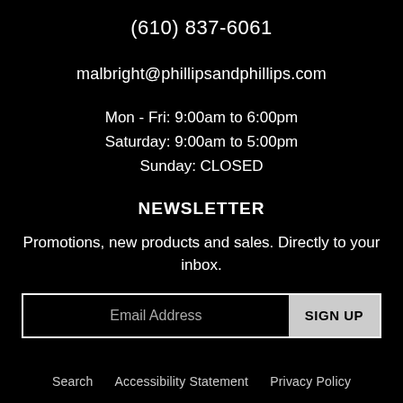(610) 837-6061
malbright@phillipsandphillips.com
Mon - Fri: 9:00am to 6:00pm
Saturday: 9:00am to 5:00pm
Sunday: CLOSED
NEWSLETTER
Promotions, new products and sales. Directly to your inbox.
Email Address  SIGN UP
Search   Accessibility Statement   Privacy Policy